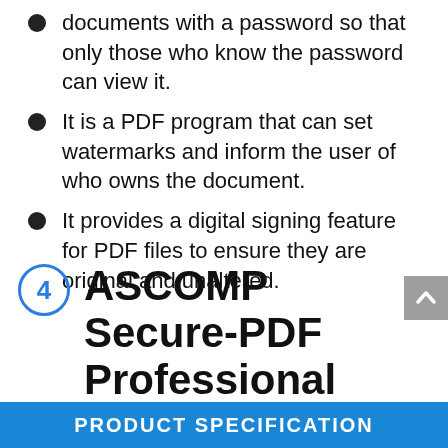documents with a password so that only those who know the password can view it.
It is a PDF program that can set watermarks and inform the user of who owns the document.
It provides a digital signing feature for PDF files to ensure they are original and unaltered.
4 ASCOMP Secure-PDF Professional Specification
PRODUCT SPECIFICATION